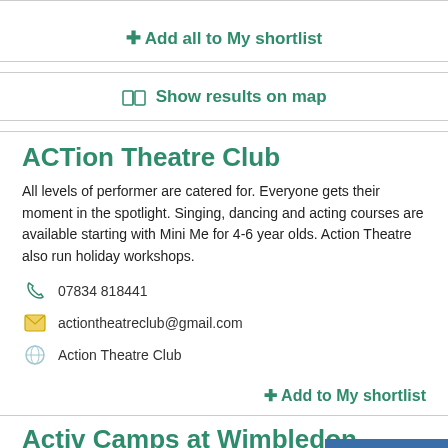+ Add all to My shortlist
Show results on map
ACTion Theatre Club
All levels of performer are catered for.  Everyone gets their moment in the spotlight.  Singing, dancing and acting courses are available starting with Mini Me for 4-6 year olds.  Action Theatre also run holiday workshops.
07834 818441
actiontheatreclub@gmail.com
Action Theatre Club
+ Add to My shortlist
Activ Camps at Wimbledon College